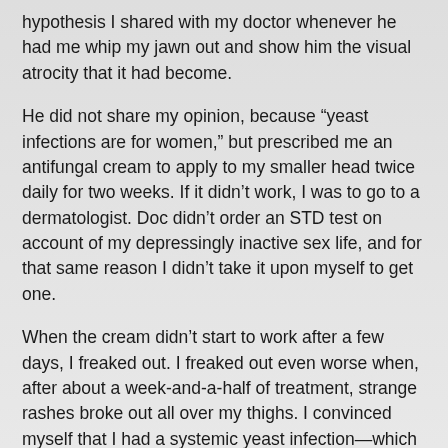hypothesis I shared with my doctor whenever he had me whip my jawn out and show him the visual atrocity that it had become.
He did not share my opinion, because “yeast infections are for women,” but prescribed me an antifungal cream to apply to my smaller head twice daily for two weeks. If it didn’t work, I was to go to a dermatologist. Doc didn’t order an STD test on account of my depressingly inactive sex life, and for that same reason I didn’t take it upon myself to get one.
When the cream didn’t start to work after a few days, I freaked out. I freaked out even worse when, after about a week-and-a-half of treatment, strange rashes broke out all over my thighs. I convinced myself that I had a systemic yeast infection—which is basically one that starts in the genital region and spreads throughout the rest of the body. In another couple days, rashes appeared on my feet, upper arms, and even torso, while my penis’ condition continued to deteriorate. At one point it looked like it had